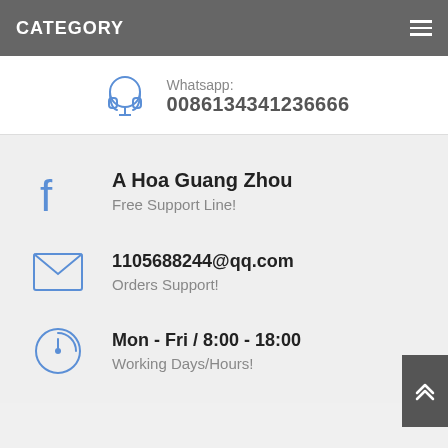CATEGORY
Whatsapp: 0086134341236666
A Hoa Guang Zhou
Free Support Line!
1105688244@qq.com
Orders Support!
Mon - Fri / 8:00 - 18:00
Working Days/Hours!